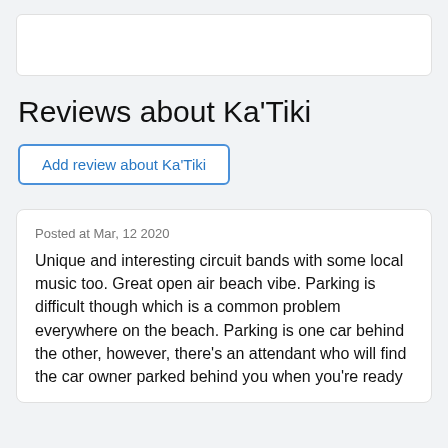[Figure (other): White card placeholder at top of page]
Reviews about Ka'Tiki
Add review about Ka'Tiki
Posted at Mar, 12 2020
Unique and interesting circuit bands with some local music too. Great open air beach vibe. Parking is difficult though which is a common problem everywhere on the beach. Parking is one car behind the other, however, there's an attendant who will find the car owner parked behind you when you're ready